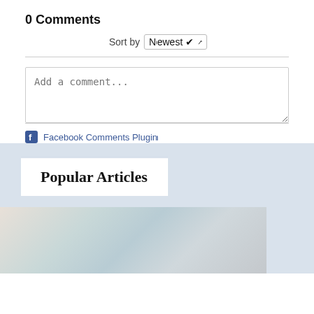0 Comments
Sort by Newest
Add a comment...
Facebook Comments Plugin
Popular Articles
[Figure (photo): A blurred close-up photo showing medical or dental instruments and gloved hands on a teal/blue background]